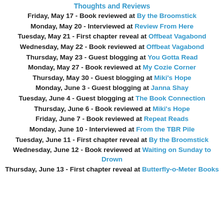Thoughts and Reviews
Friday, May 17 - Book reviewed at By the Broomstick
Monday, May 20 - Interviewed at Review From Here
Tuesday, May 21 - First chapter reveal at Offbeat Vagabond
Wednesday, May 22 - Book reviewed at Offbeat Vagabond
Thursday, May 23 - Guest blogging at You Gotta Read
Monday, May 27 - Book reviewed at My Cozie Corner
Thursday, May 30 - Guest blogging at Miki's Hope
Monday, June 3 - Guest blogging at Janna Shay
Tuesday, June 4 - Guest blogging at The Book Connection
Thursday, June 6 - Book reviewed at Miki's Hope
Friday, June 7 - Book reviewed at Repeat Reads
Monday, June 10 - Interviewed at From the TBR Pile
Tuesday, June 11 - First chapter reveal at By the Broomstick
Wednesday, June 12 - Book reviewed at Waiting on Sunday to Drown
Thursday, June 13 - First chapter reveal at Butterfly-o-Meter Books